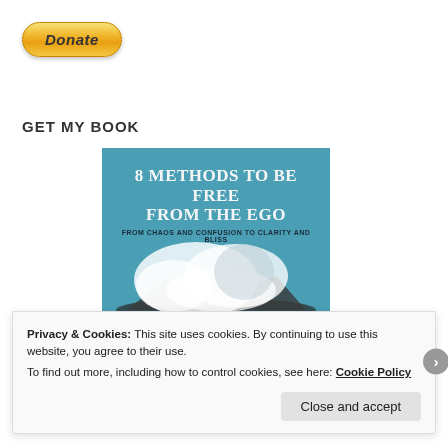[Figure (other): PayPal Donate button with golden gradient and rounded rectangle shape]
GET MY BOOK
[Figure (illustration): Book cover for '8 Methods to Be Free from the Ego: From Chaos and Confusion to Clarity and Bliss' on teal background with cloud/mountain silhouette illustration]
Privacy & Cookies: This site uses cookies. By continuing to use this website, you agree to their use.
To find out more, including how to control cookies, see here: Cookie Policy
Close and accept